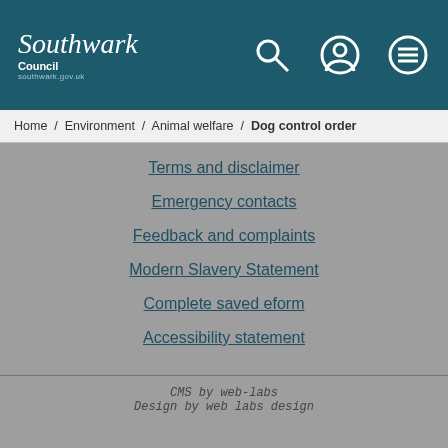Southwark Council southwark.gov.uk
Home / Environment / Animal welfare / Dog control order
Terms and disclaimer
Emergency contacts
Feedback and complaints
Modern Slavery Statement
Complete saved eform
Accessibility statement
CMS by web-labs
Design by web labs design